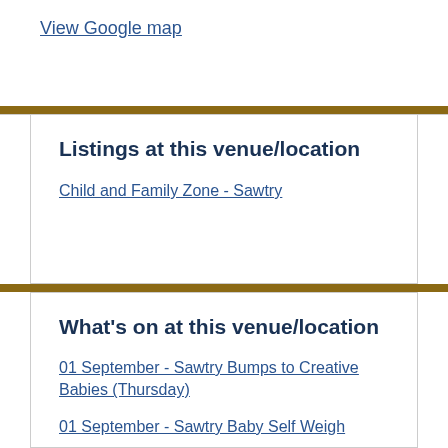View Google map
Listings at this venue/location
Child and Family Zone - Sawtry
What's on at this venue/location
01 September - Sawtry Bumps to Creative Babies (Thursday)
01 September - Sawtry Baby Self Weigh
02 September - Sawtry Stay and Play